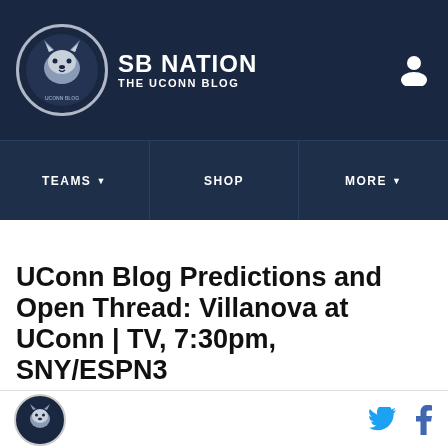SB NATION — THE UCONN BLOG
[Figure (logo): SB Nation UConn Blog navigation header with logo, site name, and user icon]
UConn Blog Predictions and Open Thread: Villanova at UConn | TV, 7:30pm, SNY/ESPN3
A few selected members of The UConn Blog's staff offer their predictions for the season as
UConn Blog logo, Twitter and Facebook social share icons